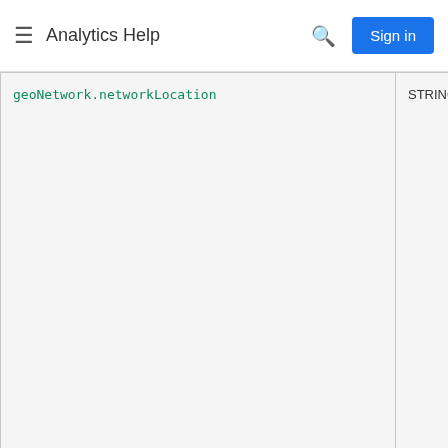Analytics Help
| Field | Type |
| --- | --- |
| geoNetwork.networkLocation | STRING |
| hits | RECORD |
| hits.dataSource | STRING |
| hits.sourcePropertyInfo | RECORD |